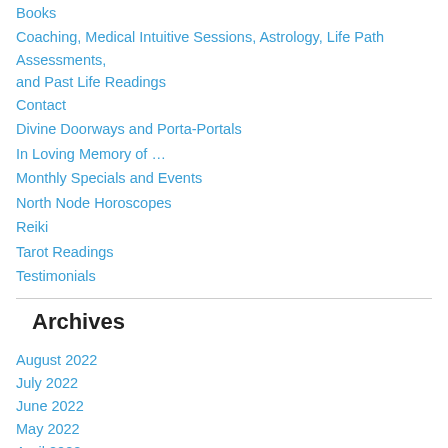Books
Coaching, Medical Intuitive Sessions, Astrology, Life Path Assessments, and Past Life Readings
Contact
Divine Doorways and Porta-Portals
In Loving Memory of …
Monthly Specials and Events
North Node Horoscopes
Reiki
Tarot Readings
Testimonials
Archives
August 2022
July 2022
June 2022
May 2022
April 2022